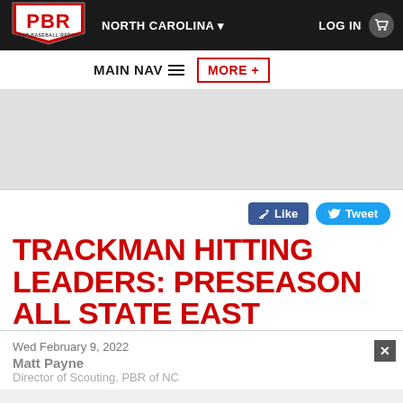[Figure (logo): PBR Prep Baseball Report logo — red and white shield with PBR text]
NORTH CAROLINA ▾     LOG IN 🛒
MAIN NAV ≡   MORE +
[Figure (other): Gray advertisement banner area]
[Figure (other): Like and Tweet social media buttons]
TRACKMAN HITTING LEADERS: PRESEASON ALL STATE EAST
Wed February 9, 2022
Matt Payne
Director of Scouting, PBR of NC